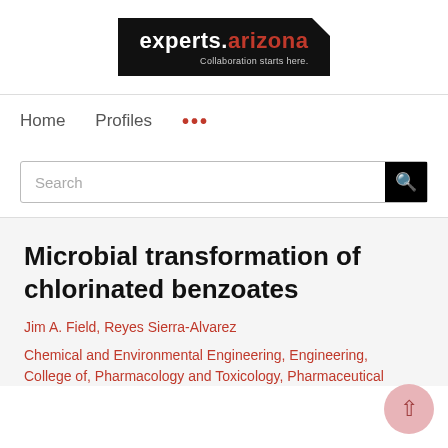[Figure (logo): experts.arizona logo — white text 'experts.' and red '.arizona' on black background with tagline 'Collaboration starts here.']
Home   Profiles   ...
Search
Microbial transformation of chlorinated benzoates
Jim A. Field, Reyes Sierra-Alvarez
Chemical and Environmental Engineering, Engineering, College of, Pharmacology and Toxicology, Pharmaceutical